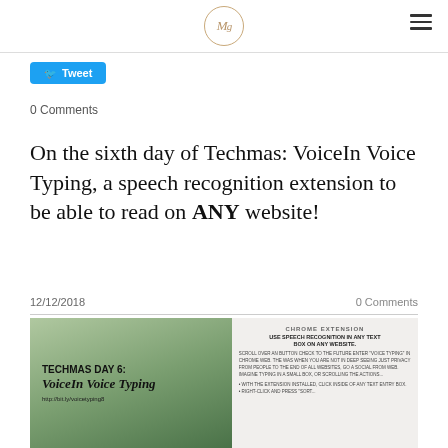MG (logo)
Tweet
0 Comments
On the sixth day of Techmas: VoiceIn Voice Typing, a speech recognition extension to be able to read on ANY website!
12/12/2018
0 Comments
[Figure (photo): Infographic for Techmas Day 6: VoiceIn Voice Typing. Left side shows bold text on green background with title 'TECHMAS DAY 6: VoiceIn Voice Typing' and URL http://bit.ly/voicetyping8. Right side shows a white panel labeled 'CHROME EXTENSION' with text about using speech recognition in any text box on any website.]